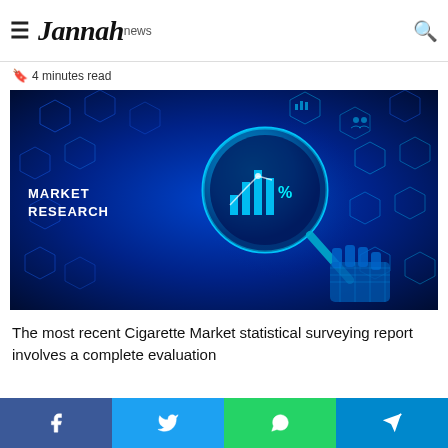Jannah news
4 minutes read
[Figure (photo): Market research concept image: dark blue digital background with hexagonal icons and a robotic hand holding a magnifying glass over a bar chart with percentage symbol, text reads MARKET RESEARCH]
The most recent Cigarette Market statistical surveying report involves a complete evaluation